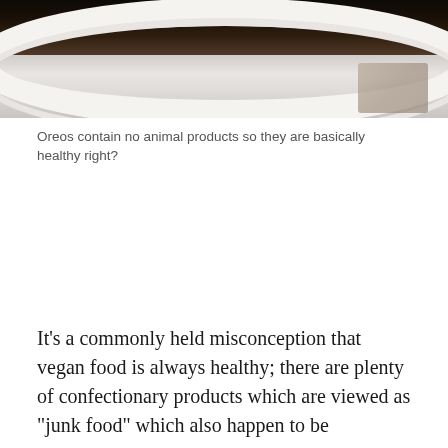[Figure (photo): Close-up photo of an Oreo cookie on a white plate, viewed from above, showing the dark chocolate cookie against a white plate background with a textured surface visible in the corner.]
Oreos contain no animal products so they are basically healthy right?
It's a commonly held misconception that vegan food is always healthy; there are plenty of confectionary products which are viewed as "junk food" which also happen to be